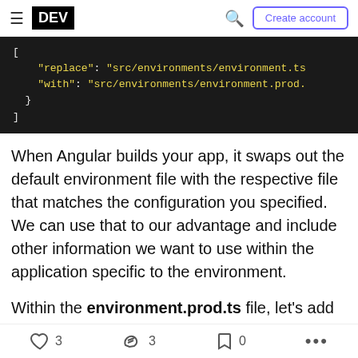DEV | Create account
[Figure (screenshot): Code block showing JSON configuration with 'replace' and 'with' keys for Angular environment file swapping]
When Angular builds your app, it swaps out the default environment file with the respective file that matches the configuration you specified. We can use that to our advantage and include other information we want to use within the application specific to the environment.
Within the environment.prod.ts file, let's add a name property and give it a value of PROD
3 likes  3 comments  0 bookmarks